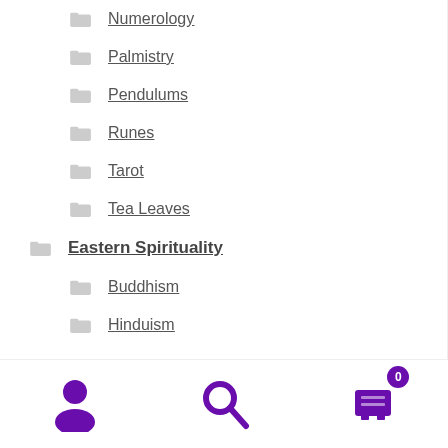Numerology
Palmistry
Pendulums
Runes
Tarot
Tea Leaves
Eastern Spirituality
Buddhism
Hinduism
Online Shopping for Curbside Delivery
Dismiss